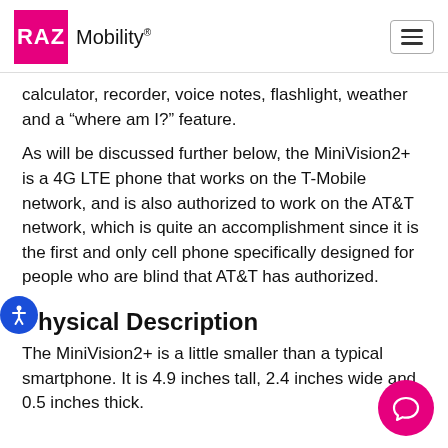RAZ Mobility
calculator, recorder, voice notes, flashlight, weather and a “where am I?” feature.
As will be discussed further below, the MiniVision2+ is a 4G LTE phone that works on the T-Mobile network, and is also authorized to work on the AT&T network, which is quite an accomplishment since it is the first and only cell phone specifically designed for people who are blind that AT&T has authorized.
Physical Description
The MiniVision2+ is a little smaller than a typical smartphone. It is 4.9 inches tall, 2.4 inches wide and 0.5 inches thick.